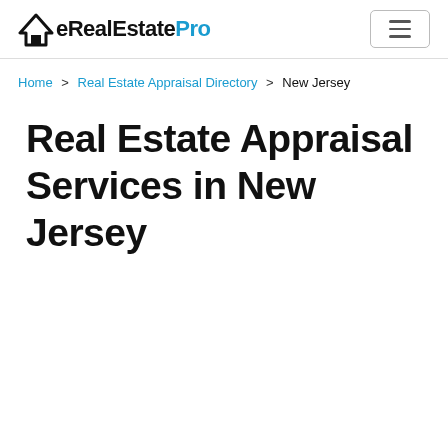eRealEstatePro
Home > Real Estate Appraisal Directory > New Jersey
Real Estate Appraisal Services in New Jersey